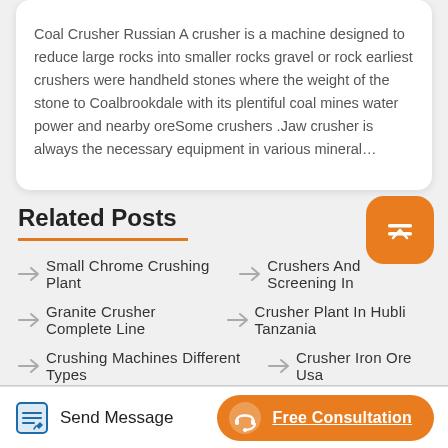Coal Crusher Russian A crusher is a machine designed to reduce large rocks into smaller rocks gravel or rock earliest crushers were handheld stones where the weight of the stone to Coalbrookdale with its plentiful coal mines water power and nearby oreSome crushers .Jaw crusher is always the necessary equipment in various mineral…
Related Posts
Small Chrome Crushing Plant
Crushers And Screening In
Granite Crusher Complete Line
Crusher Plant In Hubli Tanzania
Crushing Machines Different Types
Crusher Iron Ore Usa
Copper Crusher D Type
Crusher Equipment Australia
Want To Buy Portable Crushing Plant
Send Message
Free Consultation